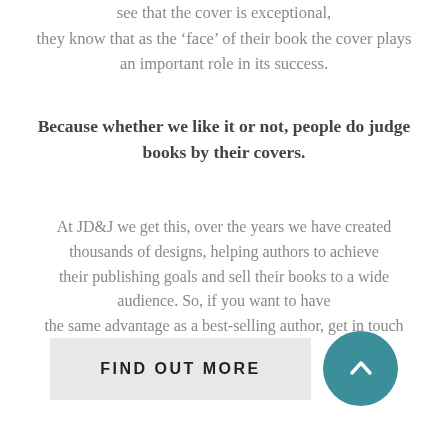see that the cover is exceptional, they know that as the ‘face’ of their book the cover plays an important role in its success.
Because whether we like it or not, people do judge books by their covers.
At JD&J we get this, over the years we have created thousands of designs, helping authors to achieve their publishing goals and sell their books to a wide audience. So, if you want to have the same advantage as a best-selling author, get in touch with us today.
FIND OUT MORE